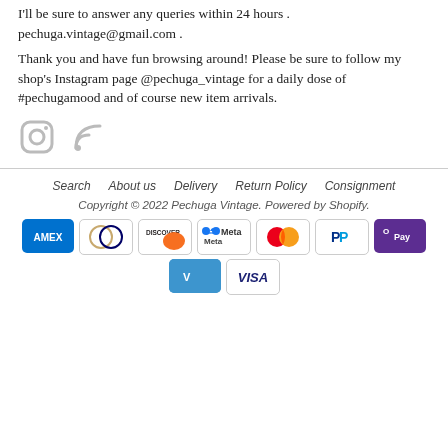I'll be sure to answer any queries within 24 hours . pechuga.vintage@gmail.com .
Thank you and have fun browsing around! Please be sure to follow my shop's Instagram page @pechuga_vintage for a daily dose of #pechugamood and of course new item arrivals.
[Figure (illustration): Two social media icons: Instagram camera icon and RSS feed icon, both in light grey]
Search   About us   Delivery   Return Policy   Consignment
Copyright © 2022 Pechuga Vintage. Powered by Shopify.
[Payment icons: AMEX, Diners Club, Discover, Meta, Mastercard, PayPal, GPay, Venmo, Visa]